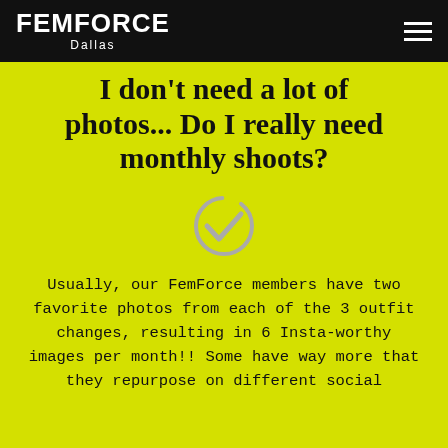FEMFORCE Dallas
I don't need a lot of photos... Do I really need monthly shoots?
[Figure (illustration): Gray checkmark icon in circle]
Usually, our FemForce members have two favorite photos from each of the 3 outfit changes, resulting in 6 Insta-worthy images per month!! Some have way more that they repurpose on different social